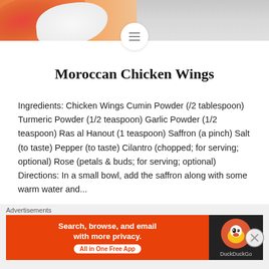[Figure (photo): Moroccan food/fabric photo at top of page with menu hamburger icon overlay]
Moroccan Chicken Wings
Ingredients: Chicken Wings Cumin Powder (/2 tablespoon) Turmeric Powder (1/2 teaspoon) Garlic Powder (1/2 teaspoon) Ras al Hanout (1 teaspoon) Saffron (a pinch) Salt (to taste) Pepper (to taste) Cilantro (chopped; for serving; optional) Rose (petals & buds; for serving; optional) Directions: In a small bowl, add the saffron along with some warm water and...
[Figure (other): READ MORE button in gold/yellow color]
[Figure (other): Close/X button circle]
Advertisements
[Figure (other): DuckDuckGo advertisement banner: Search, browse, and email with more privacy. All in One Free App]